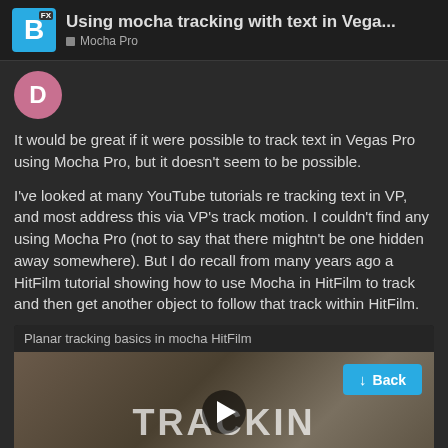Using mocha tracking with text in Vega... | Mocha Pro
It would be great if it were possible to track text in Vegas Pro using Mocha Pro, but it doesn't seem to be possible.
I've looked at many YouTube tutorials re tracking text in VP, and most address this via VP's track motion. I couldn't find any using Mocha Pro (not to say that there mightn't be one hidden away somewhere). But I do recall from many years ago a HitFilm tutorial showing how to use Mocha in HitFilm to track and then get another object to follow that track within HitFilm.
Planar tracking basics in mocha HitFilm
[Figure (screenshot): Video thumbnail showing 'TRACKIN' text overlay with a play button in center, a cyan 'Back' button top right, and page indicator '3/7' bottom right]